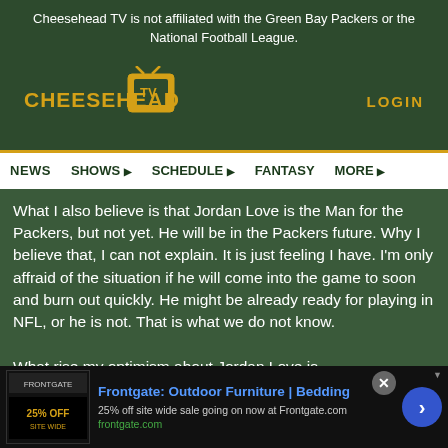Cheesehead TV is not affiliated with the Green Bay Packers or the National Football League.
[Figure (logo): Cheesehead TV logo — yellow stylized text with a TV icon]
LOGIN
NEWS   SHOWS ▸   SCHEDULE ▸   FANTASY   MORE ▸
What I also believe is that Jordan Love is the Man for the Packers, but not yet. He will be in the Packers future. Why I believe that, I can not explain. It is just feeling I have. I'm only affraid of the situation if he will come into the game to soon and burn out quickly. He might be already ready for playing in NFL, or he is not. That is what we do not know.

What rise my optimism about Jordan Love is
[Figure (screenshot): Advertisement banner: Frontgate Outdoor Furniture | Bedding — 25% off site wide sale going on now at Frontgate.com]